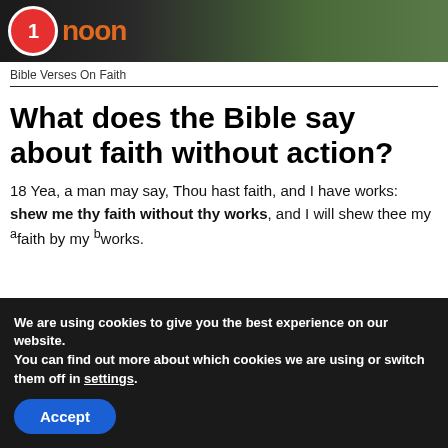[Figure (logo): Website header banner with circular red logo icon and orange 'noon' text on dark background with nature scene]
Bible Verses On Faith
What does the Bible say about faith without action?
18 Yea, a man may say, Thou hast faith, and I have works: shew me thy faith without thy works, and I will shew thee my afaith by my bworks.
We are using cookies to give you the best experience on our website.
You can find out more about which cookies we are using or switch them off in settings.